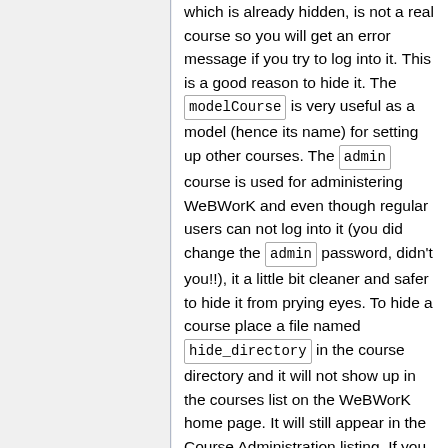which is already hidden, is not a real course so you will get an error message if you try to log into it. This is a good reason to hide it. The modelCourse is very useful as a model (hence its name) for setting up other courses. The admin course is used for administering WeBWorK and even though regular users can not log into it (you did change the admin password, didn't you!!), it a little bit cleaner and safer to hide it from prying eyes. To hide a course place a file named hide_directory in the course directory and it will not show up in the courses list on the WeBWorK home page. It will still appear in the Course Administration listing. If you do this you will still be able to access the admin